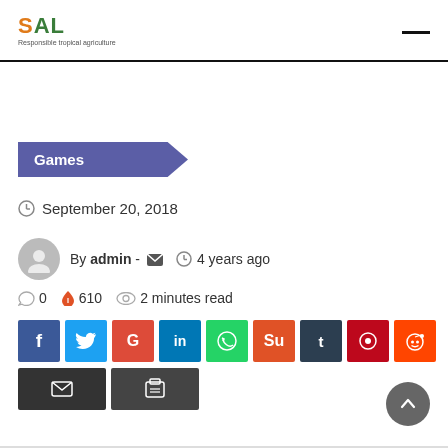SAL Responsible tropical agriculture
Games
September 20, 2018
By admin - 4 years ago
0  610  2 minutes read
[Figure (other): Social sharing buttons: Facebook, Twitter, Google+, LinkedIn, WhatsApp, StumbleUpon, Tumblr, Pinterest, Reddit, Email, Print]